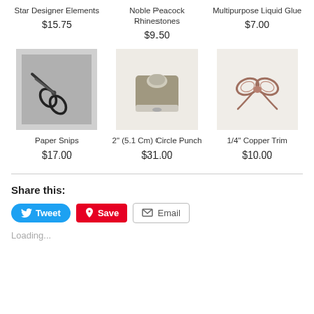Star Designer Elements
$15.75
Noble Peacock Rhinestones
$9.50
Multipurpose Liquid Glue
$7.00
[Figure (photo): Scissors (Paper Snips) on grey background]
[Figure (photo): 2 inch circle punch, taupe/silver device on white background]
[Figure (photo): 1/4 inch copper trim ribbon bow on cream background]
Paper Snips
$17.00
2" (5.1 Cm) Circle Punch
$31.00
1/4" Copper Trim
$10.00
Share this:
Tweet
Save
Email
Loading...